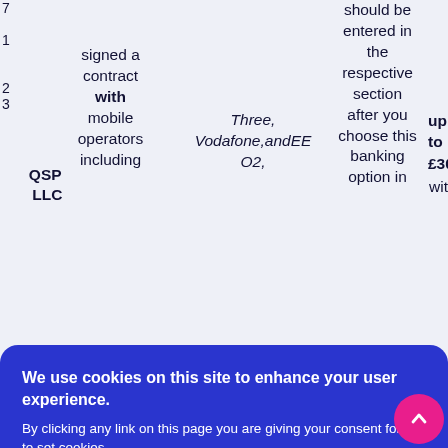QSP LLC signed a contract with mobile operators including
Three, Vodafone, and EE O2,
should be entered in the respective section after you choose this banking option in
up to £30
is delivered instantly and is taken from the mobile credit or added to the monthly
wit
[Figure (screenshot): Cookie consent overlay banner on a blue background with 'We use cookies on this site to enhance your user experience.' heading, body text about giving consent, and two buttons: READ MORE and OK, I AGREE. A pink scroll-to-top button is visible in the bottom right corner.]